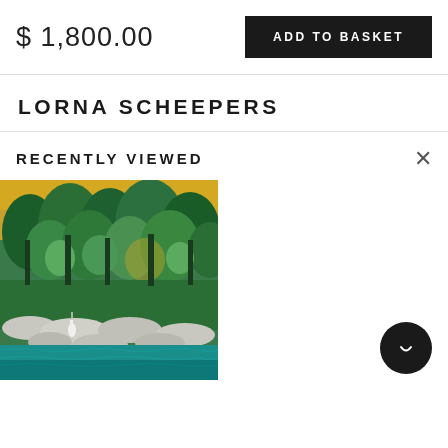$ 1,800.00
ADD TO BASKET
LORNA SCHEEPERS
RECENTLY VIEWED
[Figure (photo): Painting of a river scene with lush green trees, rocks along the shoreline, and teal/turquoise water in the foreground. A white bird stands among the rocks. Yellow-gold sky visible through the tree canopy.]